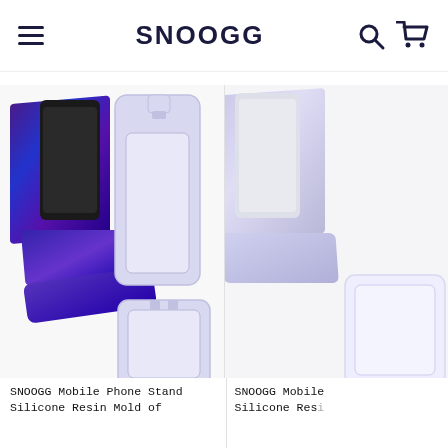SNOOGG
[Figure (photo): Left product: Blue/purple resin phone stand holding a smartphone on the left half, and two white silicone mold pieces (rectangular tall mold and square base mold) on the right half of the first product cell.]
[Figure (photo): Right product (partially visible): Light lavender/white resin phone stand with a white silicone mold piece, partially cut off at right edge.]
SNOOGG Mobile Phone Stand Silicone Resin Mold of
SNOOGG Mobile Silicone Res